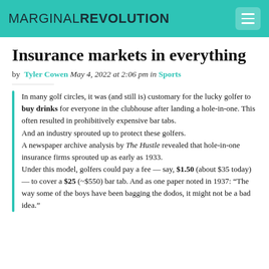MARGINAL REVOLUTION
Insurance markets in everything
by Tyler Cowen May 4, 2022 at 2:06 pm in Sports
In many golf circles, it was (and still is) customary for the lucky golfer to buy drinks for everyone in the clubhouse after landing a hole-in-one. This often resulted in prohibitively expensive bar tabs.
And an industry sprouted up to protect these golfers.
A newspaper archive analysis by The Hustle revealed that hole-in-one insurance firms sprouted up as early as 1933.
Under this model, golfers could pay a fee — say, $1.50 (about $35 today) — to cover a $25 (~$550) bar tab. And as one paper noted in 1937: “The way some of the boys have been bagging the dodos, it might not be a bad idea.”